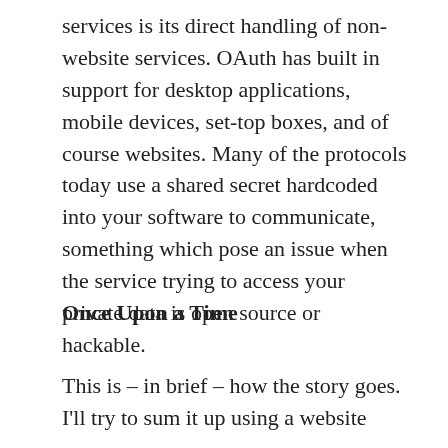services is its direct handling of non-website services. OAuth has built in support for desktop applications, mobile devices, set-top boxes, and of course websites. Many of the protocols today use a shared secret hardcoded into your software to communicate, something which pose an issue when the service trying to access your private data is open source or hackable.
Once Upon a Time
This is – in brief – how the story goes. I'll try to sum it up using a website